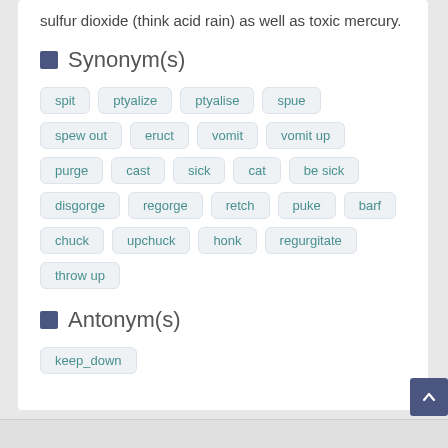sulfur dioxide (think acid rain) as well as toxic mercury.
Synonym(s)
spit
ptyalize
ptyalise
spue
spew out
eruct
vomit
vomit up
purge
cast
sick
cat
be sick
disgorge
regorge
retch
puke
barf
chuck
upchuck
honk
regurgitate
throw up
Antonym(s)
keep_down